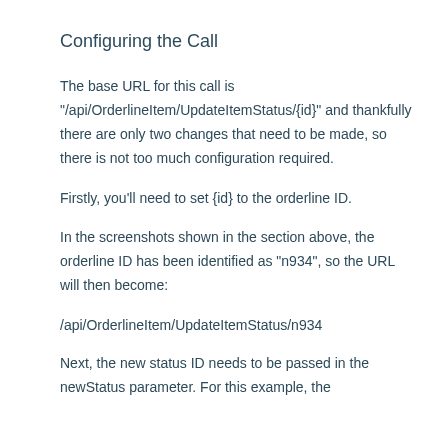Configuring the Call
The base URL for this call is "/api/OrderlineItem/UpdateItemStatus/{id}" and thankfully there are only two changes that need to be made, so there is not too much configuration required.
Firstly, you'll need to set {id} to the orderline ID.
In the screenshots shown in the section above, the orderline ID has been identified as "n934", so the URL will then become:
/api/OrderlineItem/UpdateItemStatus/n934
Next, the new status ID needs to be passed in the newStatus parameter. For this example, the